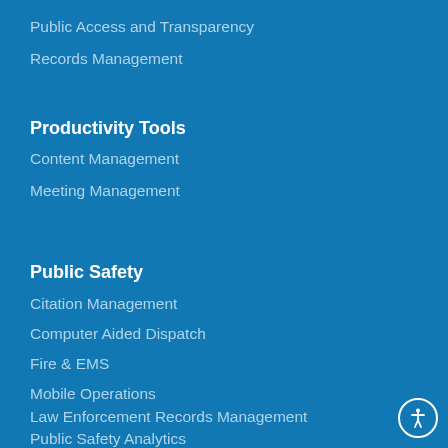Public Access and Transparency
Records Management
Productivity Tools
Content Management
Meeting Management
Public Safety
Citation Management
Computer Aided Dispatch
Fire & EMS
Mobile Operations
Law Enforcement Records Management
Public Safety Analytics